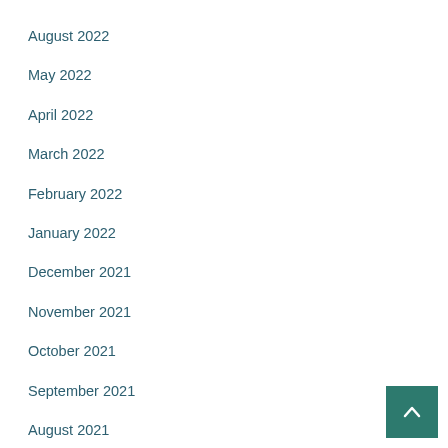August 2022
May 2022
April 2022
March 2022
February 2022
January 2022
December 2021
November 2021
October 2021
September 2021
August 2021
April 2021